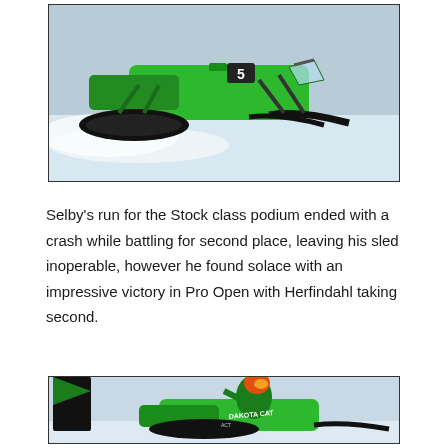[Figure (photo): A green Arctic Cat snowmobile with number 5, racing at high speed kicking up snow spray, photographed from the side against a snowy/icy background.]
Selby's run for the Stock class podium ended with a crash while battling for second place, leaving his sled inoperable, however he found solace with an impressive victory in Pro Open with Herfindahl taking second.
[Figure (photo): A rider in a green racing suit and orange/red helmet riding a green Arctic Cat snowmobile with 'Dakota Cat' and other sponsor decals, performing an aggressive turn or jump on a snowy surface. A black flag/banner is visible on the left.]